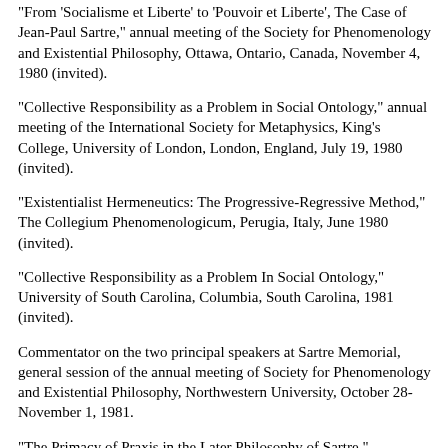"From 'Socialisme et Liberte' to 'Pouvoir et Liberte', The Case of Jean-Paul Sartre," annual meeting of the Society for Phenomenology and Existential Philosophy, Ottawa, Ontario, Canada, November 4, 1980 (invited).
"Collective Responsibility as a Problem in Social Ontology," annual meeting of the International Society for Metaphysics, King's College, University of London, London, England, July 19, 1980 (invited).
"Existentialist Hermeneutics: The Progressive-Regressive Method," The Collegium Phenomenologicum, Perugia, Italy, June 1980 (invited).
"Collective Responsibility as a Problem In Social Ontology," University of South Carolina, Columbia, South Carolina, 1981 (invited).
Commentator on the two principal speakers at Sartre Memorial, general session of the annual meeting of Society for Phenomenology and Existential Philosophy, Northwestern University, October 28-November 1, 1981.
"The Primacy of Praxis in the Later Philosophy of Sartre," University of Colorado at Boulder, March 4, 1982 (invited).